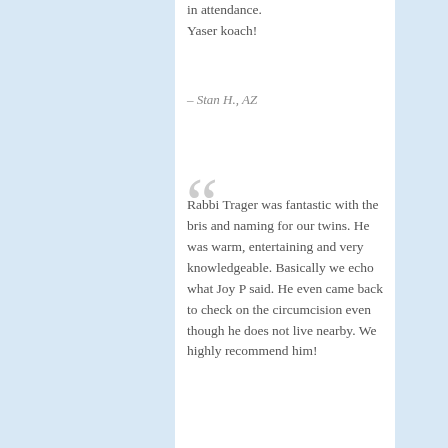in attendance. Yaser koach!
– Stan H., AZ
Rabbi Trager was fantastic with the bris and naming for our twins. He was warm, entertaining and very knowledgeable. Basically we echo what Joy P said. He even came back to check on the circumcision even though he does not live nearby. We highly recommend him!